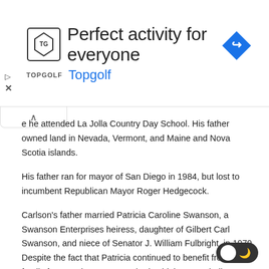[Figure (screenshot): Advertisement banner for Topgolf with logo, title 'Perfect activity for everyone', and a blue navigation diamond icon. Includes play and close buttons on the left.]
e he attended La Jolla Country Day School. His father owned land in Nevada, Vermont, and Maine and Nova Scotia islands.
His father ran for mayor of San Diego in 1984, but lost to incumbent Republican Mayor Roger Hedgecock.
Carlson's father married Patricia Caroline Swanson, a Swanson Enterprises heiress, daughter of Gilbert Carl Swanson, and niece of Senator J. William Fulbright, in 1979. Despite the fact that Patricia continued to benefit from the family fortune, the Swansons had sold the Campbell Soup Company in 1955 and did not own the brand by the time Carlson's father married.
[Figure (other): Dark/light mode toggle switch in the bottom right corner.]